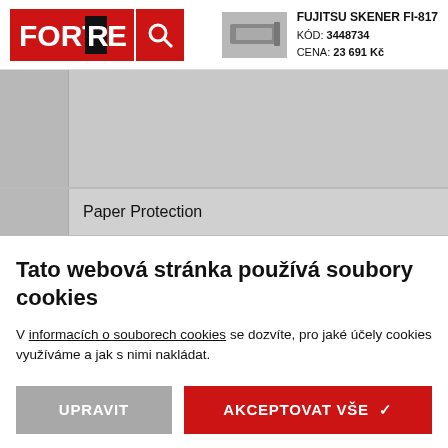FORTREX [logo] | FUJITSU SKENER FI-817 | KÓD: 3448734 | CENA: 23 691 Kč
[Figure (screenshot): Navigation gray area with sidebar]
Paper Protection
Tato webová stránka používá soubory cookies
V informacích o souborech cookies se dozvíte, pro jaké účely cookies využíváme a jak s nimi nakládat.
UPRAVIT | AKCEPTOVAT VŠE ✓